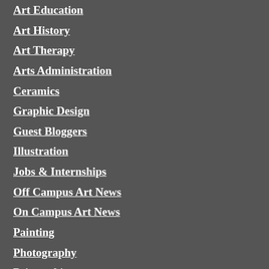Art Education
Art History
Art Therapy
Arts Administration
Ceramics
Graphic Design
Guest Bloggers
Illustration
Jobs & Internships
Off Campus Art News
On Campus Art News
Painting
Photography
Printmaking
Sculpture
Student Spotlight